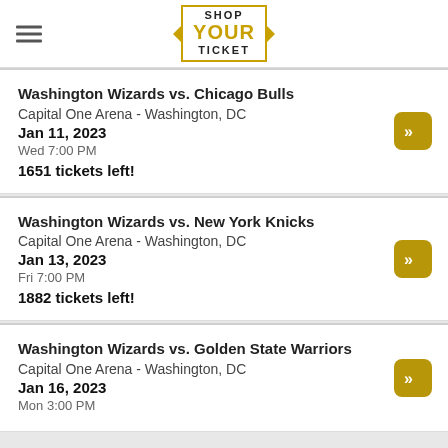SHOP YOUR TICKET
Washington Wizards vs. Chicago Bulls
Capital One Arena - Washington, DC
Jan 11, 2023
Wed 7:00 PM
1651 tickets left!
Washington Wizards vs. New York Knicks
Capital One Arena - Washington, DC
Jan 13, 2023
Fri 7:00 PM
1882 tickets left!
Washington Wizards vs. Golden State Warriors
Capital One Arena - Washington, DC
Jan 16, 2023
Mon 3:00 PM